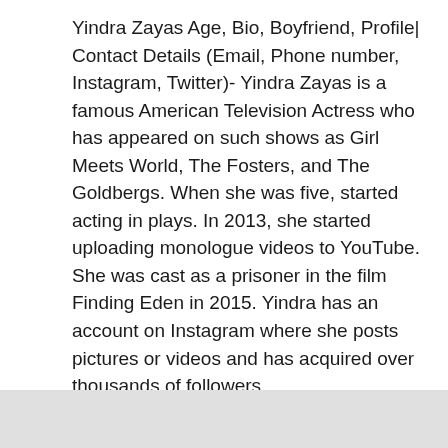Yindra Zayas Age, Bio, Boyfriend, Profile| Contact Details (Email, Phone number, Instagram, Twitter)- Yindra Zayas is a famous American Television Actress who has appeared on such shows as Girl Meets World, The Fosters, and The Goldbergs. When she was five, started acting in plays. In 2013, she started uploading monologue videos to YouTube. She was cast as a prisoner in the film Finding Eden in 2015. Yindra has an account on Instagram where she posts pictures or videos and has acquired over thousands of followers.
Read more